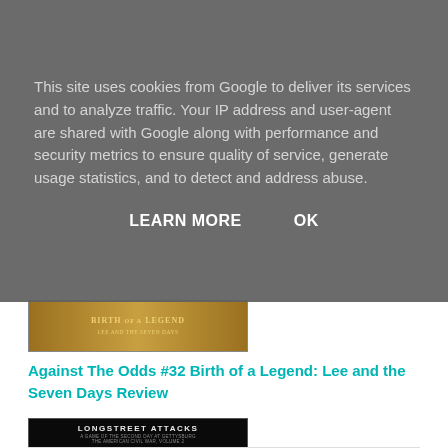This site uses cookies from Google to deliver its services and to analyze traffic. Your IP address and user-agent are shared with Google along with performance and security metrics to ensure quality of service, generate usage statistics, and to detect and address abuse.
LEARN MORE   OK
[Figure (photo): Book cover for 'Birth of a Legend' with golden/brown background]
Against The Odds #32 Birth of a Legend: Lee and the Seven Days Review
[Figure (photo): Book cover for 'Longstreet Attacks' with dark background showing battlefield landscape]
Longstreet Attacks by Revolution Games